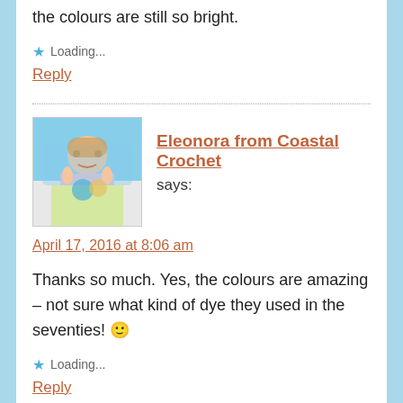the colours are still so bright.
Loading...
Reply
Eleonora from Coastal Crochet says:
April 17, 2016 at 8:06 am
Thanks so much. Yes, the colours are amazing – not sure what kind of dye they used in the seventies! 🙂
Loading...
Reply